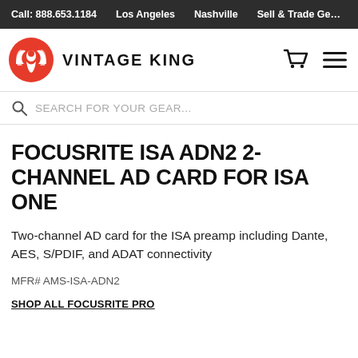Call: 888.653.1184  Los Angeles  Nashville  Sell & Trade Ge…
[Figure (logo): Vintage King orange flame logo with 'VINTAGE KING' text]
FOCUSRITE ISA ADN2 2-CHANNEL AD CARD FOR ISA ONE
Two-channel AD card for the ISA preamp including Dante, AES, S/PDIF, and ADAT connectivity
MFR# AMS-ISA-ADN2
SHOP ALL FOCUSRITE PRO